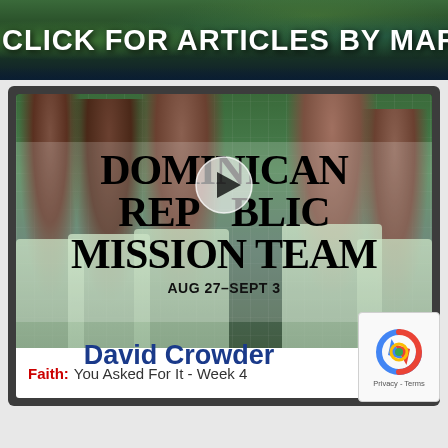CLICK FOR ARTICLES BY MARY
[Figure (screenshot): Video thumbnail showing children smiling with text overlay: DOMINICAN REPUBLIC MISSION TEAM, AUG 27-SEPT 3, with a play button in the center]
Faith: You Asked For It - Week 4
David Crowder
[Figure (logo): Google reCAPTCHA logo with Privacy - Terms text]